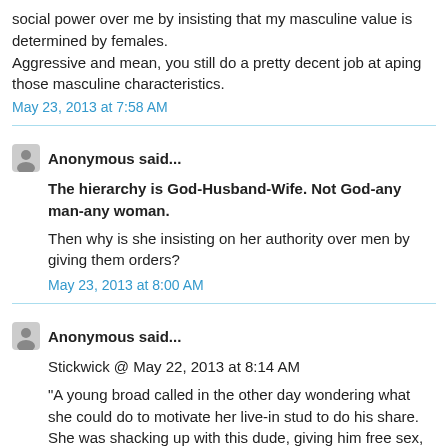social power over me by insisting that my masculine value is determined by females.
Aggressive and mean, you still do a pretty decent job at aping those masculine characteristics.
May 23, 2013 at 7:58 AM
Anonymous said...
The hierarchy is God-Husband-Wife. Not God-any man-any woman.
Then why is she insisting on her authority over men by giving them orders?
May 23, 2013 at 8:00 AM
Anonymous said...
Stickwick @ May 22, 2013 at 8:14 AM
"A young broad called in the other day wondering what she could do to motivate her live-in stud to do his share. She was shacking up with this dude, giving him free sex,